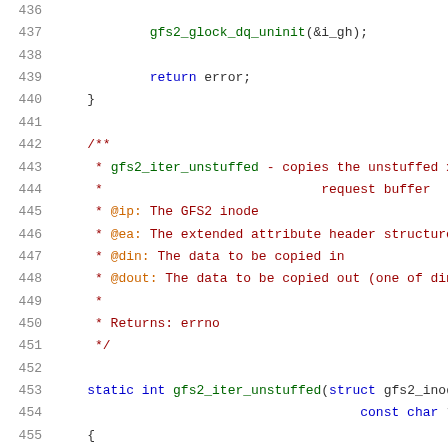[Figure (screenshot): Source code listing with line numbers 436-456 showing C code for gfs2 filesystem functions. Lines 436-440 show end of a function with gfs2_glock_dq_uninit call and return error. Lines 442-451 show a doc comment for gfs2_iter_unstuffed. Lines 453-456 show start of gfs2_iter_unstuffed function definition.]